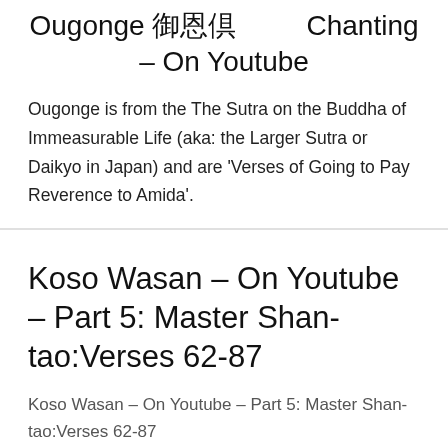Ougonge 御恩偈 Chanting – On Youtube
Ougonge is from the The Sutra on the Buddha of Immeasurable Life (aka: the Larger Sutra or Daikyo in Japan) and are 'Verses of Going to Pay Reverence to Amida'.
Koso Wasan – On Youtube – Part 5: Master Shan-tao:Verses 62-87
Koso Wasan – On Youtube – Part 5: Master Shan-tao:Verses 62-87